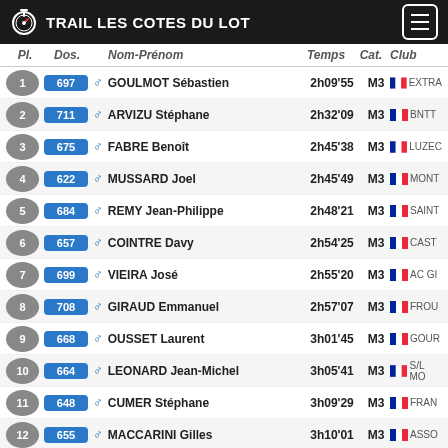TRAIL LES COTES DU LOT
| Pl. | Dos. | Nom-Prénom | Temps | Cat. | Club |
| --- | --- | --- | --- | --- | --- |
| 1 | 697 | GOULMOT Sébastien | 2h09'55 | M3 | EXTRA... |
| 2 | 711 | ARVIZU Stéphane | 2h32'09 | M3 | BNTT |
| 3 | 675 | FABRE Benoît | 2h45'38 | M3 | LUZEC... |
| 4 | 622 | MUSSARD Joel | 2h45'49 | M3 | MONT... |
| 5 | 684 | REMY Jean-Philippe | 2h48'21 | M3 | SAINT... |
| 6 | 657 | COINTRE Davy | 2h54'25 | M3 | CAST... |
| 7 | 699 | VIEIRA José | 2h55'20 | M3 | AC GI... |
| 8 | 708 | GIRAUD Emmanuel | 2h57'07 | M3 | FROU... |
| 9 | 668 | OUSSET Laurent | 3h01'45 | M3 | GOUR... |
| 10 | 664 | LEONARD Jean-Michel | 3h05'41 | M3 | S/L MO... |
| 11 | 648 | CUMER Stéphane | 3h09'29 | M3 | FRAN... |
| 12 | 655 | MACCARINI Gilles | 3h10'01 | M3 | ASSO... |